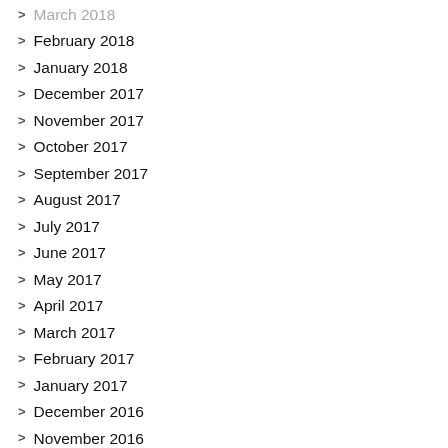March 2018
February 2018
January 2018
December 2017
November 2017
October 2017
September 2017
August 2017
July 2017
June 2017
May 2017
April 2017
March 2017
February 2017
January 2017
December 2016
November 2016
October 2016
September 2016
August 2016
July 2016
June 2016